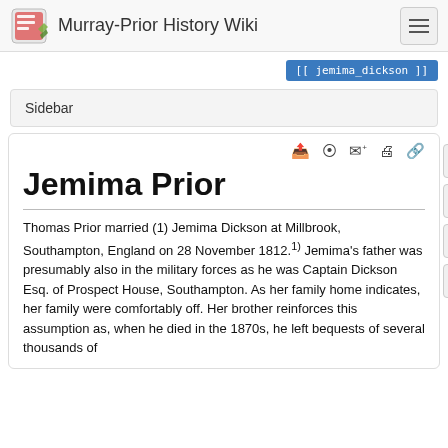Murray-Prior History Wiki
[[ jemima_dickson ]]
Sidebar
Jemima Prior
Thomas Prior married (1) Jemima Dickson at Millbrook, Southampton, England on 28 November 1812.1) Jemima's father was presumably also in the military forces as he was Captain Dickson Esq. of Prospect House, Southampton. As her family home indicates, her family were comfortably off. Her brother reinforces this assumption as, when he died in the 1870s, he left bequests of several thousands of